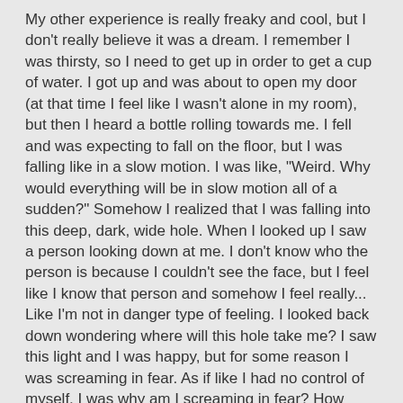My other experience is really freaky and cool, but I don't really believe it was a dream. I remember I was thirsty, so I need to get up in order to get a cup of water. I got up and was about to open my door (at that time I feel like I wasn't alone in my room), but then I heard a bottle rolling towards me. I fell and was expecting to fall on the floor, but I was falling like in a slow motion. I was like, "Weird. Why would everything will be in slow motion all of a sudden?" Somehow I realized that I was falling into this deep, dark, wide hole. When I looked up I saw a person looking down at me. I don't know who the person is because I couldn't see the face, but I feel like I know that person and somehow I feel really... Like I'm not in danger type of feeling. I looked back down wondering where will this hole take me? I saw this light and I was happy, but for some reason I was screaming in fear. As if like I had no control of myself, I was why am I screaming in fear? How come I can't stop myself from screaming? As I got closer to the light, I saw my body! I screamed even louder. I'm like why the heck am I screaming for? And why is my body glowing? I went through my body. As I slowly going through my body, I can feel myself actually lying on the bed and my head against the pillow again. I woke up immediately after that experience.
And after all these dreams and experience. It only leads me to two questions: